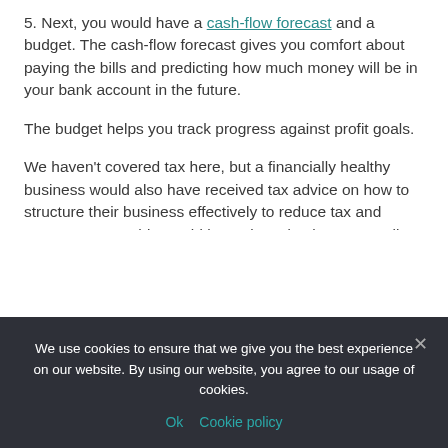5. Next, you would have a cash-flow forecast and a budget. The cash-flow forecast gives you comfort about paying the bills and predicting how much money will be in your bank account in the future.
The budget helps you track progress against profit goals.
We haven't covered tax here, but a financially healthy business would also have received tax advice on how to structure their business effectively to reduce tax and protect assets. This would be reviewed at least annually as part of a tax planning session.
We use cookies to ensure that we give you the best experience on our website. By using our website, you agree to our usage of cookies.
Ok   Cookie policy